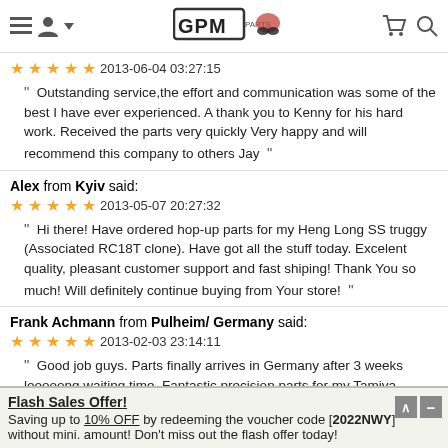GPM Parts (logo with navigation icons)
★★★★★ 2013-06-04 03:27:15
" Outstanding service,the effort and communication was some of the best I have ever experienced. A thank you to Kenny for his hard work. Received the parts very quickly Very happy and will recommend this company to others Jay "
Alex from Kyiv said:
★★★★★ 2013-05-07 20:27:32
" Hi there! Have ordered hop-up parts for my Heng Long SS truggy (Associated RC18T clone). Have got all the stuff today. Excelent quality, pleasant customer support and fast shiping! Thank You so much! Will definitely continue buying from Your store! "
Frank Achmann from Pulheim/ Germany said:
★★★★★ 2013-02-03 23:14:11
" Good job guys. Parts finally arrives in Germany after 3 weeks looooong waiting time. Fantastic precision parts for my Tamiya Plasma Edge...
Flash Sales Offer!
Saving up to 10% OFF by redeeming the voucher code [2022NWY] without mini. amount! Don't miss out the flash offer today!